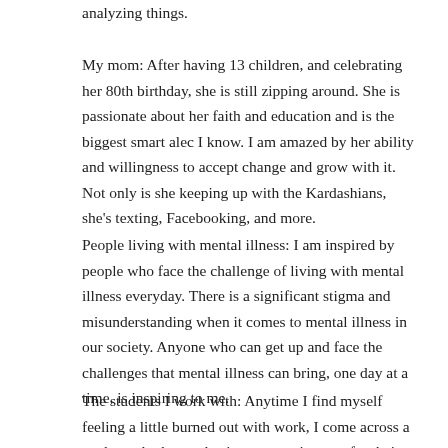analyzing things.
My mom: After having 13 children, and celebrating her 80th birthday, she is still zipping around. She is passionate about her faith and education and is the biggest smart alec I know. I am amazed by her ability and willingness to accept change and grow with it. Not only is she keeping up with the Kardashians, she's texting, Facebooking, and more.
People living with mental illness: I am inspired by people who face the challenge of living with mental illness everyday. There is a significant stigma and misunderstanding when it comes to mental illness in our society. Anyone who can get up and face the challenges that mental illness can bring, one day at a time, is inspiring to me.
The students I work with: Anytime I find myself feeling a little burned out with work, I come across a student who has enthusiasm an excitement for their profession. This reignites my fire to continue to...